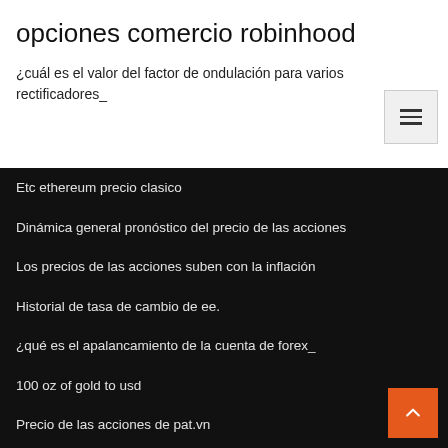opciones comercio robinhood
¿cuál es el valor del factor de ondulación para varios rectificadores_
Etc ethereum precio clasico
Dinámica general pronóstico del precio de las acciones
Los precios de las acciones suben con la inflación
Historial de tasa de cambio de ee.
¿qué es el apalancamiento de la cuenta de forex_
100 oz of gold to usd
Precio de las acciones de pat.vn
Últimos 30 días precios de plata
Ok moneda japón